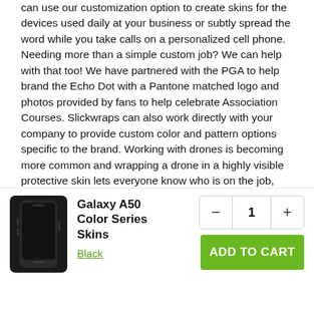can use our customization option to create skins for the devices used daily at your business or subtly spread the word while you take calls on a personalized cell phone. Needing more than a simple custom job? We can help with that too! We have partnered with the PGA to help brand the Echo Dot with a Pantone matched logo and photos provided by fans to help celebrate Association Courses. Slickwraps can also work directly with your company to provide custom color and pattern options specific to the brand. Working with drones is becoming more common and wrapping a drone in a highly visible protective skin lets everyone know who is on the job, partnering with Plymouth Rock Assurance we created multiple branded skins for different drones to ensure a uniform look. We also offer a B2B wrapping service for our skins, once the custom design has been approved devices can be mailed to our HQ we will hand wrap each device for you before it is ma
[Figure (photo): Samsung Galaxy A50 smartphone, black color, product image]
Galaxy A50 Color Series Skins
Black